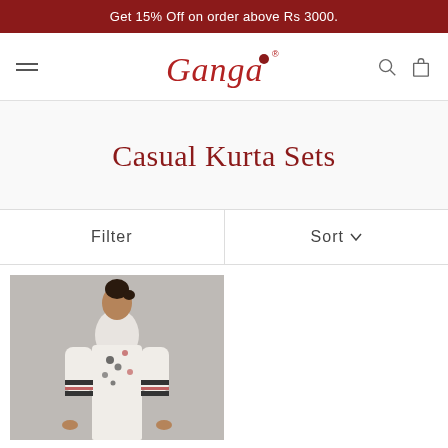Get 15% Off on order above Rs 3000.
[Figure (logo): Ganga brand logo in red cursive text with registered trademark symbol]
Casual Kurta Sets
Filter
Sort
[Figure (photo): Woman wearing a white floral embroidered kurta with black and pink floral patterns and striped sleeves, posing against a gray background]